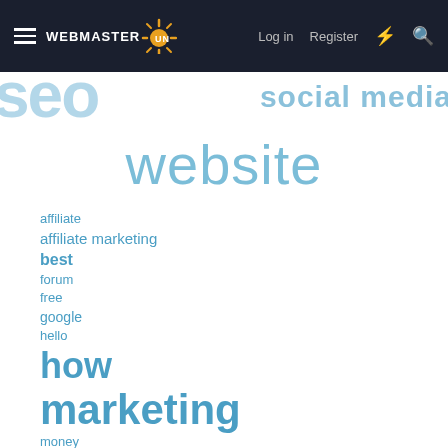WEBMASTER SUN — Log in  Register
[Figure (screenshot): Webmaster Sun navigation bar with hamburger menu, logo, Log in, Register, lightning bolt and search icons on dark background. Partial word cloud showing 'seo' and 'social media' cropped at edges.]
website
affiliate
affiliate marketing
best
forum
free
google
hello
how
marketing
money
new
new member
seo